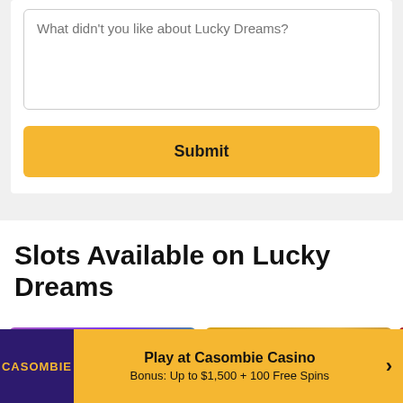[Figure (screenshot): Text input textarea with placeholder text 'What didn't you like about Lucky Dreams?']
[Figure (screenshot): Yellow Submit button]
Slots Available on Lucky Dreams
[Figure (screenshot): Two slot game preview cards. First card labeled 'ReelPlay' with purple/green gradient background. Second card labeled 'Microgaming' with gold/orange background showing armored figure. A red scroll button partially visible on right.]
[Figure (screenshot): Bottom banner ad for Casombie Casino: 'Play at Casombie Casino' with 'Bonus: Up to $1,500 + 100 Free Spins']